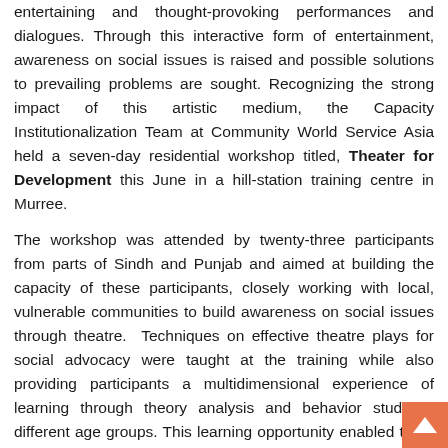entertaining and thought-provoking performances and dialogues. Through this interactive form of entertainment, awareness on social issues is raised and possible solutions to prevailing problems are sought. Recognizing the strong impact of this artistic medium, the Capacity Institutionalization Team at Community World Service Asia held a seven-day residential workshop titled, Theater for Development this June in a hill-station training centre in Murree.
The workshop was attended by twenty-three participants from parts of Sindh and Punjab and aimed at building the capacity of these participants, closely working with local, vulnerable communities to build awareness on social issues through theatre. Techniques on effective theatre plays for social advocacy were taught at the training while also providing participants a multidimensional experience of learning through theory analysis and behavior study of different age groups. This learning opportunity enabled them to explore the fundamentals of theatre, art of creating stories, improvisation with groups and how to inculcate issue based content into an effective theatre performance.